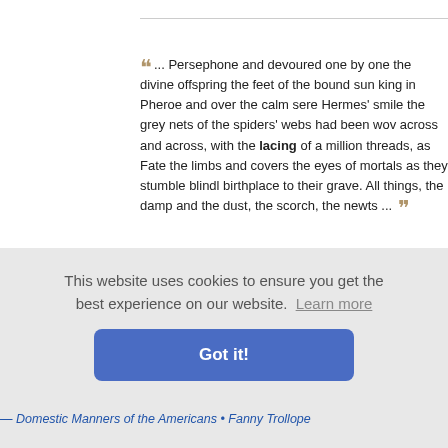"... Persephone and devoured one by one the divine offspring ... at the feet of the bound sun king in Pheroe and over the calm sere ... Hermes' smile the grey nets of the spiders' webs had been wov... across and across, with the lacing of a million threads, as Fate... the limbs and covers the eyes of mortals as they stumble blindl... birthplace to their grave. All things, the damp and the dust, the ... scorch, the newts ... "
— Wisdom, Wit, and Pathos of Ouida - Selected from the Works of Ouida
▸ Read full book for free!
etween a m... e chair of h... ow of a ma... erfect com... er since h... n the same...
— Domestic Manners of the Americans • Fanny Trollope
This website uses cookies to ensure you get the best experience on our website. Learn more
Got it!